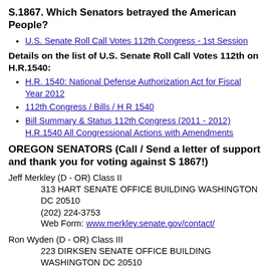S.1867. Which Senators betrayed the American People?
U.S. Senate Roll Call Votes 112th Congress - 1st Session
Details on the list of U.S. Senate Roll Call Votes 112th on H.R.1540:
H.R. 1540: National Defense Authorization Act for Fiscal Year 2012
112th Congress / Bills / H R 1540
Bill Summary & Status 112th Congress (2011 - 2012) H.R.1540 All Congressional Actions with Amendments
OREGON SENATORS (Call / Send a letter of support and thank you for voting against S 1867!)
Jeff Merkley (D - OR) Class II
313 HART SENATE OFFICE BUILDING WASHINGTON DC 20510
(202) 224-3753
Web Form: www.merkley.senate.gov/contact/
Ron Wyden (D - OR) Class III
223 DIRKSEN SENATE OFFICE BUILDING WASHINGTON DC 20510